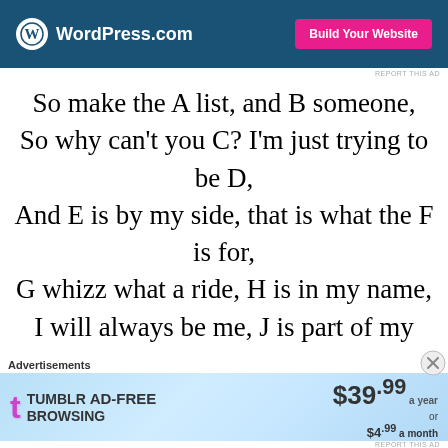[Figure (screenshot): WordPress.com banner ad with blue background, WordPress logo, and pink 'Build Your Website' button]
REPORT THIS AD
So make the A list, and B someone,
So why can't you C? I'm just trying to be D,
And E is by my side, that is what the F is for,
G whizz what a ride, H is in my name,
I will always be me, J is part of my name too
Advertisements
[Figure (screenshot): Tumblr Ad-Free Browsing advertisement: $39.99 a year or $4.99 a month]
REPORT THIS AD